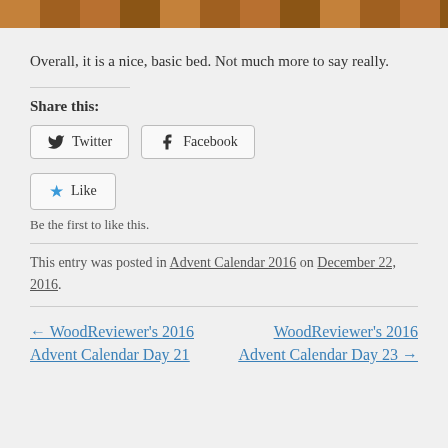[Figure (photo): Top cropped photo showing wooden surface/bed frame in warm brown tones]
Overall, it is a nice, basic bed. Not much more to say really.
Share this:
Twitter  Facebook
Like  Be the first to like this.
This entry was posted in Advent Calendar 2016 on December 22, 2016.
← WoodReviewer's 2016 Advent Calendar Day 21
WoodReviewer's 2016 Advent Calendar Day 23 →